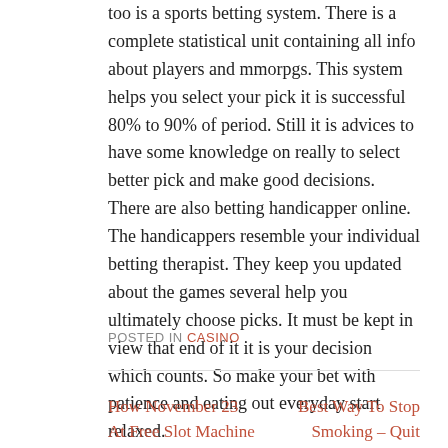too is a sports betting system. There is a complete statistical unit containing all info about players and mmorpgs. This system helps you select your pick it is successful 80% to 90% of period. Still it is advices to have some knowledge on really to select better pick and make good decisions. There are also betting handicapper online. The handicappers resemble your individual betting therapist. They keep you updated about the games several help you ultimately choose picks. It must be kept in view that end of it it is your decision which counts. So make your bet with patience and eating out everyday start relaxed.
POSTED IN CASINO
How November 23 At Free Slot Machine
Best Way To Stop Smoking – Quit